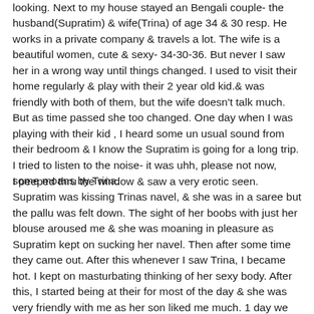looking. Next to my house stayed an Bengali couple- the husband(Supratim) & wife(Trina) of age 34 & 30 resp. He works in a private company & travels a lot. The wife is a beautiful women, cute & sexy- 34-30-36. But never I saw her in a wrong way until things changed. I used to visit their home regularly & play with their 2 year old kid.& was friendly with both of them, but the wife doesn't talk much. But as time passed she too changed. One day when I was playing with their kid , I heard some un usual sound from their bedroom & I know the Supratim is going for a long trip. I tried to listen to the noise- it was uhh, please not now, some moans by Trina.
I peeped thru the window & saw a very erotic seen. Supratim was kissing Trinas navel, & she was in a saree but the pallu was felt down. The sight of her boobs with just her blouse aroused me & she was moaning in pleasure as Supratim kept on sucking her navel. Then after some time they came out. After this whenever I saw Trina, I became hot. I kept on masturbating thinking of her sexy body. After this, I started being at their for most of the day & she was very friendly with me as her son liked me much. 1 day we planned to go to plaza